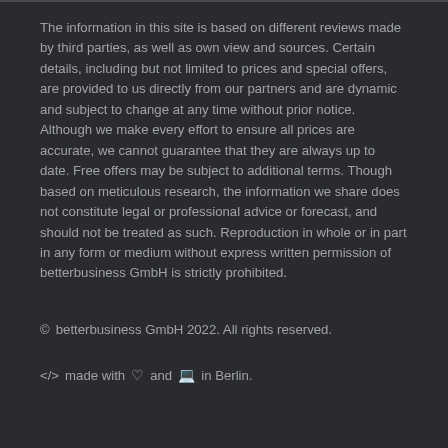The information in this site is based on different reviews made by third parties, as well as own view and sources. Certain details, including but not limited to prices and special offers, are provided to us directly from our partners and are dynamic and subject to change at any time without prior notice. Although we make every effort to ensure all prices are accurate, we cannot guarantee that they are always up to date. Free offers may be subject to additional terms. Though based on meticulous research, the information we share does not constitute legal or professional advice or forecast, and should not be treated as such. Reproduction in whole or in part in any form or medium without express written permission of betterbusiness GmbH is strictly prohibited.
© betterbusiness GmbH 2022. All rights reserved.
</> made with ♡ and ⌨ in Berlin.